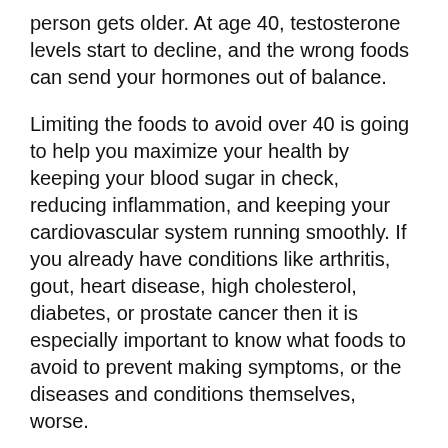person gets older. At age 40, testosterone levels start to decline, and the wrong foods can send your hormones out of balance.
Limiting the foods to avoid over 40 is going to help you maximize your health by keeping your blood sugar in check, reducing inflammation, and keeping your cardiovascular system running smoothly. If you already have conditions like arthritis, gout, heart disease, high cholesterol, diabetes, or prostate cancer then it is especially important to know what foods to avoid to prevent making symptoms, or the diseases and conditions themselves, worse.
Health Promotion and Disease Prevention Knowledge Gateway
You might have noticed it gets harder to lose or maintain your weight as you age. Obesity puts men